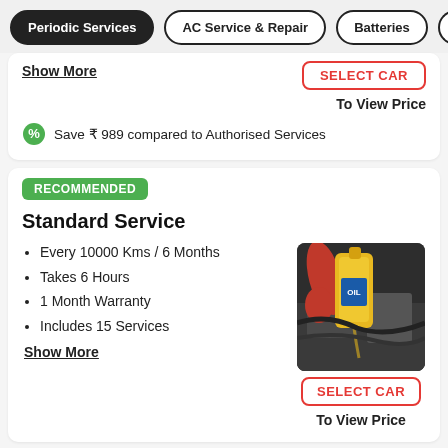Periodic Services | AC Service & Repair | Batteries | Tyr
Show More
SELECT CAR
To View Price
Save ₹ 989 compared to Authorised Services
RECOMMENDED
Standard Service
Every 10000 Kms / 6 Months
Takes 6 Hours
1 Month Warranty
Includes 15 Services
Show More
[Figure (photo): Person pouring engine oil into a car engine, holding a yellow oil container with a red glove]
SELECT CAR
To View Price